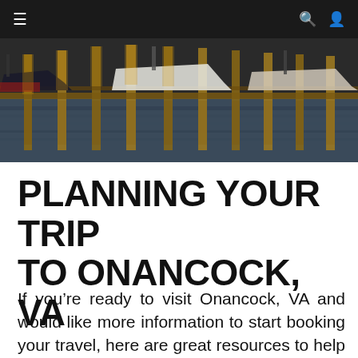≡  🔍 👤
[Figure (photo): Marina scene with boats docked at wooden pier pilings, reflections visible in calm water, taken at dusk or dawn with warm golden light on the structures.]
PLANNING YOUR TRIP TO ONANCOCK, VA
If you're ready to visit Onancock, VA and would like more information to start booking your travel, here are great resources to help you plan the perfect trip: